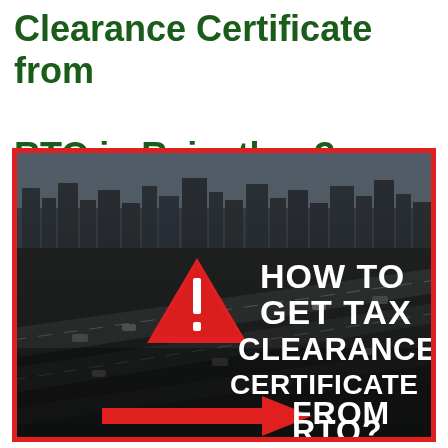Clearance Certificate from RTO in Rajasthan?
[Figure (infographic): Image of a multilane highway interchange/overpass with cars, overlaid with bold white text reading 'HOW TO GET TAX CLEARANCE CERTIFICATE FROM RTO?' and a red warning triangle with exclamation mark and a red arrow pointing right. Red border surrounds the image.]